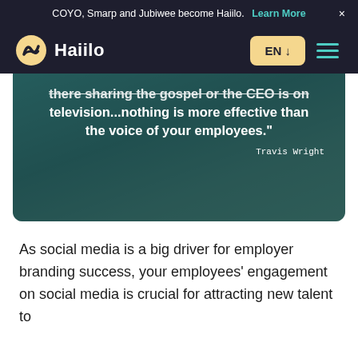COYO, Smarp and Jubiwee become Haiilo. Learn More ×
[Figure (logo): Haiilo logo with navigation bar showing EN language selector and hamburger menu]
[Figure (photo): Quote overlay on teal/dark background with people: 'there sharing the gospel or the CEO is on television...nothing is more effective than the voice of your employees.' — Travis Wright]
As social media is a big driver for employer branding success, your employees' engagement on social media is crucial for attracting new talent to